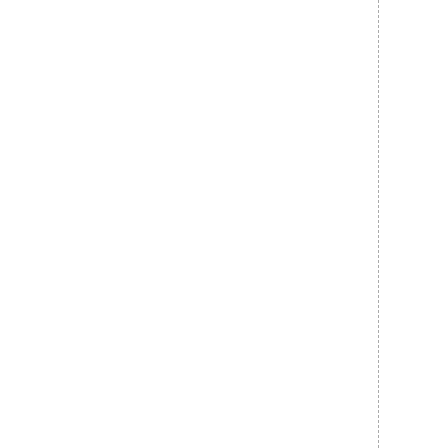n i n t e r m e d i a t e p o s i t i o n b e t w